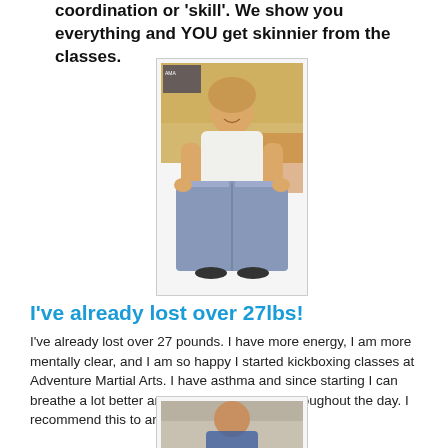coordination or 'skill'. We show you everything and YOU get skinnier from the classes.
[Figure (photo): Woman smiling and holding out oversized jeans waistband to show weight loss, in a martial arts gym setting]
I've already lost over 27lbs!
I've already lost over 27 pounds. I have more energy, I am more mentally clear, and I am so happy I started kickboxing classes at Adventure Martial Arts. I have asthma and since starting I can breathe a lot better and have more energy throughout the day. I recommend this to anyone.
Amber S.  //  Mother
[Figure (photo): Partial photo of a person at the bottom of the page, cropped]